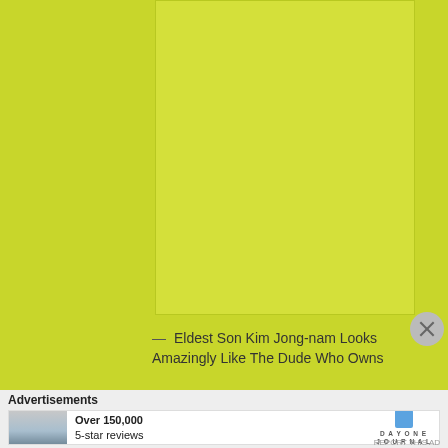[Figure (illustration): Yellow-green background with a lighter rectangular inset area, representing a placeholder or ad unit area]
— Eldest Son Kim Jong-nam Looks Amazingly Like The Dude Who Owns
Advertisements
[Figure (infographic): Advertisement banner: photo of person looking at view, text 'Over 150,000 5-star reviews', DayOne Journal logo]